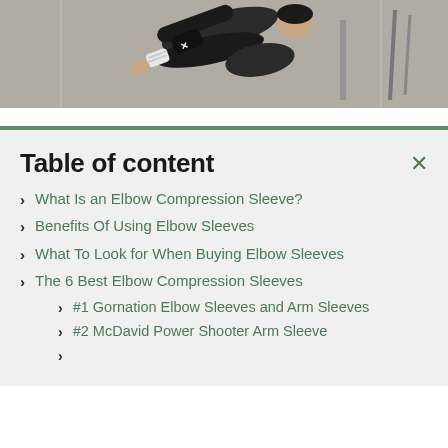[Figure (photo): Athlete performing a gymnastics or calisthenics move wearing elbow/arm compression sleeves]
Table of content
What Is an Elbow Compression Sleeve?
Benefits Of Using Elbow Sleeves
What To Look for When Buying Elbow Sleeves
The 6 Best Elbow Compression Sleeves
#1 Gornation Elbow Sleeves and Arm Sleeves
#2 McDavid Power Shooter Arm Sleeve